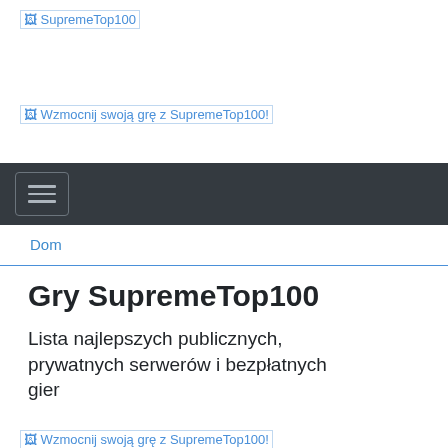[Figure (logo): SupremeTop100 logo placeholder image link]
[Figure (illustration): Banner placeholder: Wzmocnij swoją grę z SupremeTop100!]
Navigation bar with hamburger menu toggle
Dom
Gry SupremeTop100
Lista najlepszych publicznych, prywatnych serwerów i bezpłatnych gier
[Figure (illustration): Banner placeholder: Wzmocnij swoją grę z SupremeTop100!]